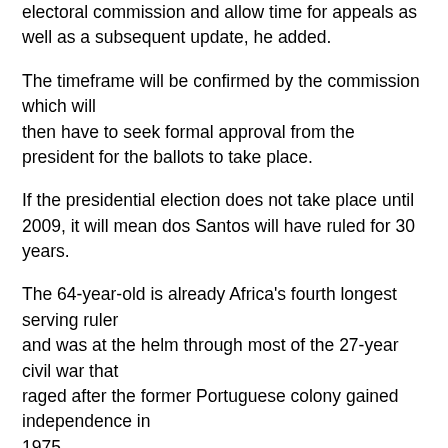electoral commission and allow time for appeals as well as a subsequent update, he added.
The timeframe will be confirmed by the commission which will then have to seek formal approval from the president for the ballots to take place.
If the presidential election does not take place until 2009, it will mean dos Santos will have ruled for 30 years.
The 64-year-old is already Africa's fourth longest serving ruler and was at the helm through most of the 27-year civil war that raged after the former Portuguese colony gained independence in 1975.
The president first announced in December 2004 that national elections would be held in 2006 but the timeline soon slipped